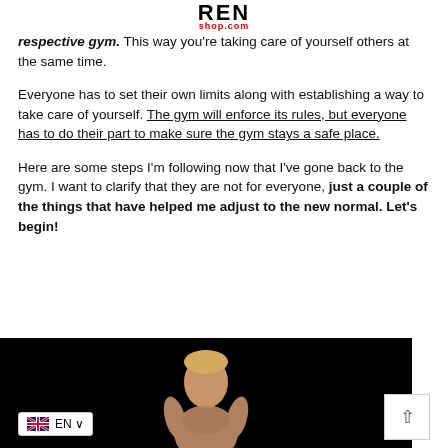REN shop.com
respective gym. This way you're taking care of yourself others at the same time.
Everyone has to set their own limits along with establishing a way to take care of yourself. The gym will enforce its rules, but everyone has to do their part to make sure the gym stays a safe place.
Here are some steps I'm following now that I've gone back to the gym. I want to clarify that they are not for everyone, just a couple of the things that have helped me adjust to the new normal. Let's begin!
[Figure (photo): Shirtless muscular man with blonde hair against a dark/black background, appearing to be in a fighting or boxing stance.]